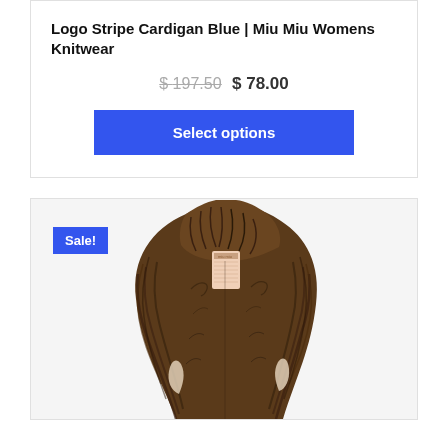Logo Stripe Cardigan Blue | Miu Miu Womens Knitwear
$ 197.50 $ 78.00
Select options
[Figure (photo): A brown faux fur vest/gilet displayed on a white background with a Sale! badge in the top left corner.]